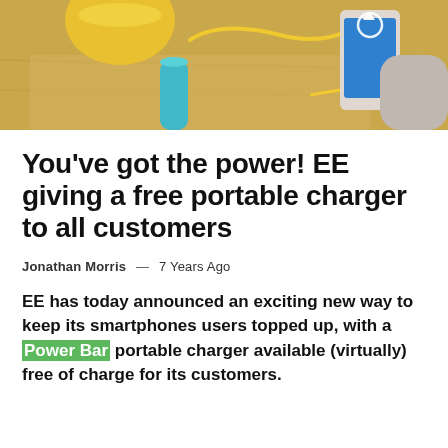[Figure (photo): Photo of a portable charger (Power Bar) on a wooden surface next to a yellow cup and a person using a smartphone]
You've got the power! EE giving a free portable charger to all customers
Jonathan Morris — 7 Years Ago
EE has today announced an exciting new way to keep its smartphones users topped up, with a Power Bar portable charger available (virtually) free of charge for its customers.